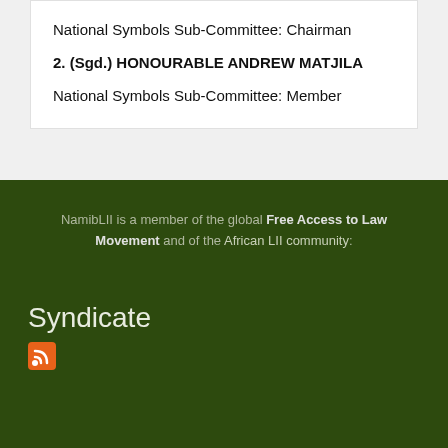National Symbols Sub-Committee: Chairman
2. (Sgd.) HONOURABLE ANDREW MATJILA
National Symbols Sub-Committee: Member
NamibLII is a member of the global Free Access to Law Movement and of the African LII community:
Syndicate